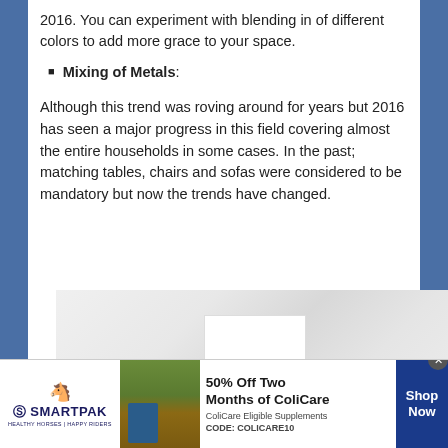2016. You can experiment with blending in of different colors to add more grace to your space.
Mixing of Metals:
Although this trend was roving around for years but 2016 has seen a major progress in this field covering almost the entire households in some cases. In the past; matching tables, chairs and sofas were considered to be mandatory but now the trends have changed.
[Figure (photo): Marble texture background with a white tile/card sample overlaid in the center]
[Figure (infographic): SmartPak advertisement banner: 50% Off Two Months of ColiCare, ColiCare Eligible Supplements, CODE: COLICARE10, Shop Now button]